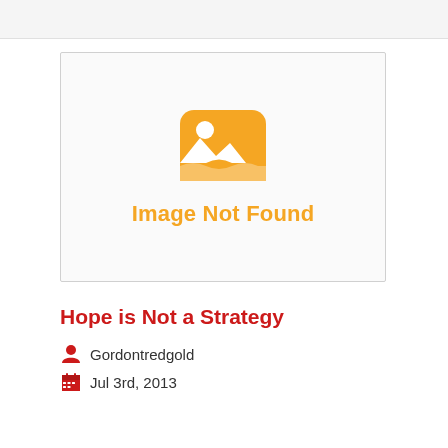[Figure (other): Image Not Found placeholder with broken image icon in orange and text 'Image Not Found' in orange]
Hope is Not a Strategy
Gordontredgold
Jul 3rd, 2013